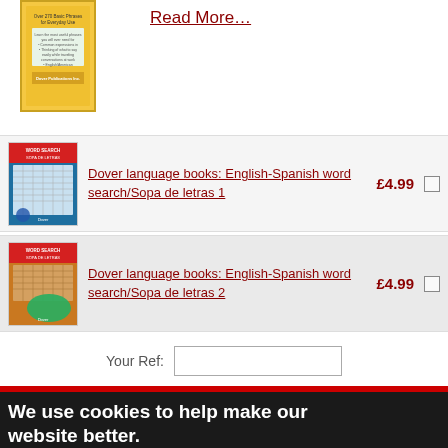[Figure (illustration): Book cover thumbnail at top left, yellow/orange colored book]
Read More…
[Figure (illustration): Book cover thumbnail for English-Spanish word search/Sopa de letras 1, blue colored]
Dover language books: English-Spanish word search/Sopa de letras 1
£4.99
[Figure (illustration): Book cover thumbnail for English-Spanish word search/Sopa de letras 2, brown/orange colored]
Dover language books: English-Spanish word search/Sopa de letras 2
£4.99
Your Ref:
We use cookies to help make our website better.
We use cookies to help make our website better. At the moment, your preferences allow us to use cookies. If you are happy with this please click here or simply continue to use our website. Otherwise find out more and amend your preferences here.